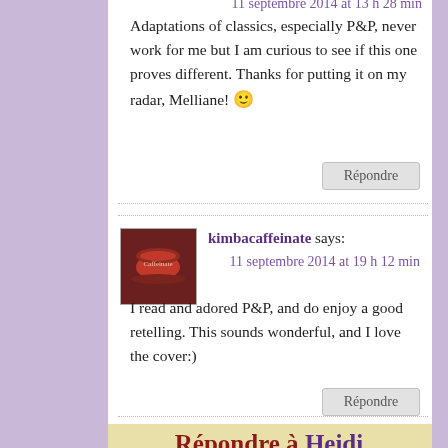Adaptations of classics, especially P&P, never work for me but I am curious to see if this one proves different. Thanks for putting it on my radar, Melliane! 🙂
Répondre
kimbacaffeinate says:
11 septembre 2014 at 19 h 12 min
I read and adored P&P, and do enjoy a good retelling. This sounds wonderful, and I love the cover:)
Répondre
Répondre à Heidi